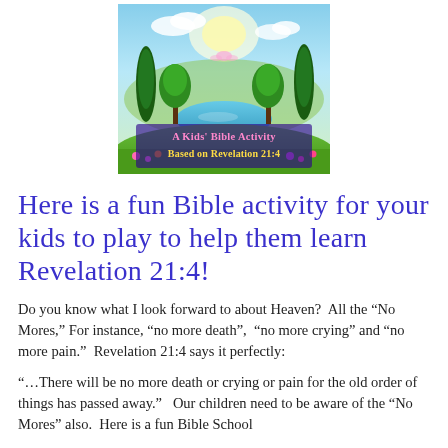[Figure (illustration): A paradise/heaven scene with lush green trees, water, colorful flowers, and a bright sky. Text overlay reads 'A Kids' Bible Activity Based on Revelation 21:4' in pink/gold stylized font.]
Here is a fun Bible activity for your kids to play to help them learn Revelation 21:4!
Do you know what I look forward to about Heaven?  All the “No Mores,” For instance, “no more death”,  “no more crying” and “no more pain.”  Revelation 21:4 says it perfectly:
“…There will be no more death or crying or pain for the old order of things has passed away.”   Our children need to be aware of the “No Mores” also.  Here is a fun Bible School